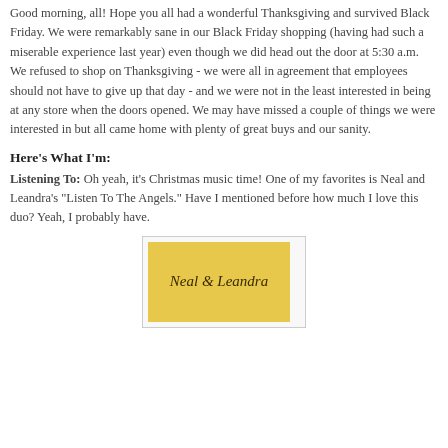Good morning, all! Hope you all had a wonderful Thanksgiving and survived Black Friday. We were remarkably sane in our Black Friday shopping (having had such a miserable experience last year) even though we did head out the door at 5:30 a.m. We refused to shop on Thanksgiving - we were all in agreement that employees should not have to give up that day - and we were not in the least interested in being at any store when the doors opened. We may have missed a couple of things we were interested in but all came home with plenty of great buys and our sanity.
Here's What I'm:
Listening To: Oh yeah, it's Christmas music time! One of my favorites is Neal and Leandra's "Listen To The Angels." Have I mentioned before how much I love this duo? Yeah, I probably have.
[Figure (photo): Album cover for Neal & Leandra, yellow/gold background with stylized script text reading 'Neal & Leandra']